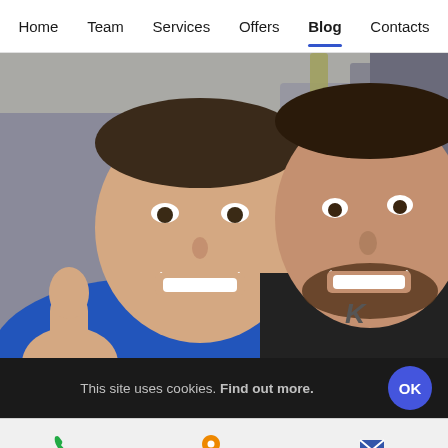Home  Team  Services  Offers  Blog  Contacts
[Figure (photo): Two men smiling in a gym. Left person wears a blue shirt and gives a thumbs up. Right person wears a black shirt. Gym equipment visible in background.]
This site uses cookies. Find out more.
CALL  DIRECTIONS  CONTACT